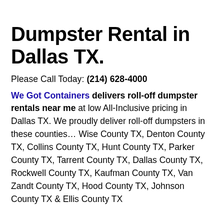Dumpster Rental in Dallas TX.
Please Call Today: (214) 628-4000
We Got Containers delivers roll-off dumpster rentals near me at low All-Inclusive pricing in Dallas TX. We proudly deliver roll-off dumpsters in these counties… Wise County TX, Denton County TX, Collins County TX, Hunt County TX, Parker County TX, Tarrent County TX, Dallas County TX, Rockwell County TX, Kaufman County TX, Van Zandt County TX, Hood County TX, Johnson County TX & Ellis County TX